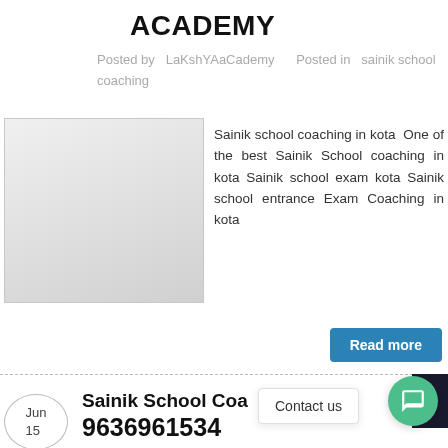ACADEMY
Posted by  LaKshYAaCademy       Posted in  sainik school coaching
[Figure (photo): Placeholder image box (light grey gradient rectangle)]
Sainik school coaching in kota  One of the best Sainik School coaching in kota Sainik school exam kota Sainik school entrance Exam Coaching in kota
Read more
Sainik School Co... Ja...
9636961534
Jun
15
Contact us